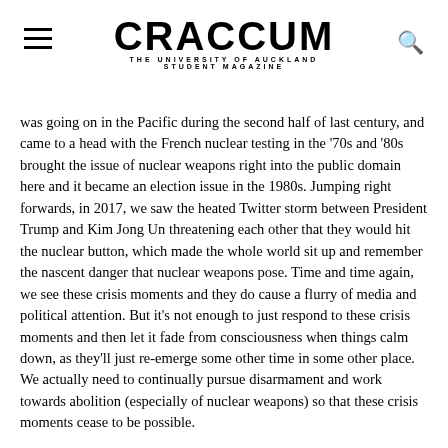CRACCUM — THE UNIVERSITY OF AUCKLAND STUDENT MAGAZINE
was going on in the Pacific during the second half of last century, and came to a head with the French nuclear testing in the '70s and '80s brought the issue of nuclear weapons right into the public domain here and it became an election issue in the 1980s. Jumping right forwards, in 2017, we saw the heated Twitter storm between President Trump and Kim Jong Un threatening each other that they would hit the nuclear button, which made the whole world sit up and remember the nascent danger that nuclear weapons pose. Time and time again, we see these crisis moments and they do cause a flurry of media and political attention. But it's not enough to just respond to these crisis moments and then let it fade from consciousness when things calm down, as they'll just re-emerge some other time in some other place. We actually need to continually pursue disarmament and work towards abolition (especially of nuclear weapons) so that these crisis moments cease to be possible.
The rhetoric that individuals and nations are entitled to weapons has come out strongly in issues of global security and even in New Zealand, do you have any words in response to those who